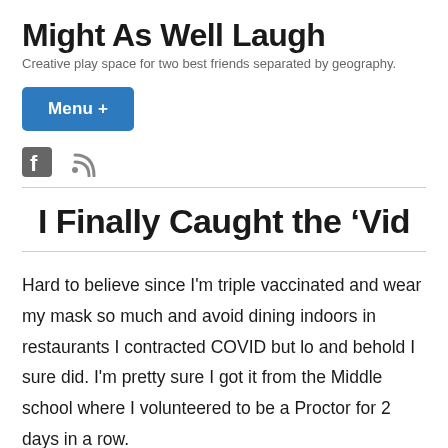Might As Well Laugh
Creative play space for two best friends separated by geography.
Menu +
I Finally Caught the ‘Vid
Hard to believe since I’m triple vaccinated and wear my mask so much and avoid dining indoors in restaurants I contracted COVID but lo and behold I sure did. I’m pretty sure I got it from the Middle school where I volunteered to be a Proctor for 2 days in a row.